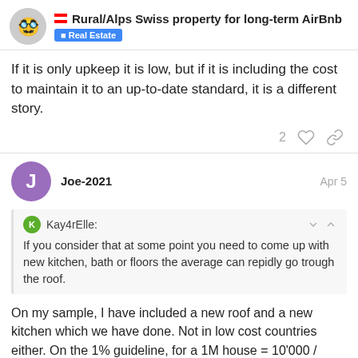Rural/Alps Swiss property for long-term AirBnb — Real Estate
If it is only upkeep it is low, but if it is including the cost to maintain it to an up-to-date standard, it is a different story.
2 ♡ 🔗
Joe-2021 — Apr 5
Kay4rElle: If you consider that at some point you need to come up with new kitchen, bath or floors the average can repidly go trough the roof.
On my sample, I have included a new roof and a new kitchen which we have done. Not in low cost countries either. On the 1% guideline, for a 1M house = 10'000 / year. The... get the point
14 / 18